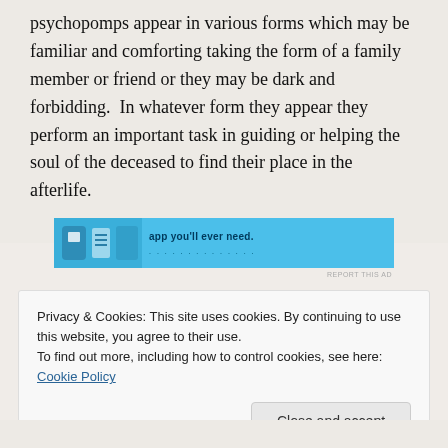psychopomps appear in various forms which may be familiar and comforting taking the form of a family member or friend or they may be dark and forbidding.  In whatever form they appear they perform an important task in guiding or helping the soul of the deceased to find their place in the afterlife.
[Figure (screenshot): Advertisement banner with blue background showing icons and text 'app you'll ever need.' with a 'REPORT THIS AD' label.]
Privacy & Cookies: This site uses cookies. By continuing to use this website, you agree to their use. To find out more, including how to control cookies, see here: Cookie Policy
Close and accept